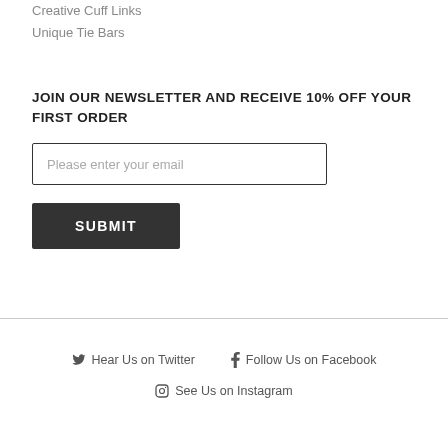Creative Cuff Links
Unique Tie Bars
JOIN OUR NEWSLETTER AND RECEIVE 10% OFF YOUR FIRST ORDER
Please enter your email
SUBMIT
Hear Us on Twitter
Follow Us on Facebook
See Us on Instagram